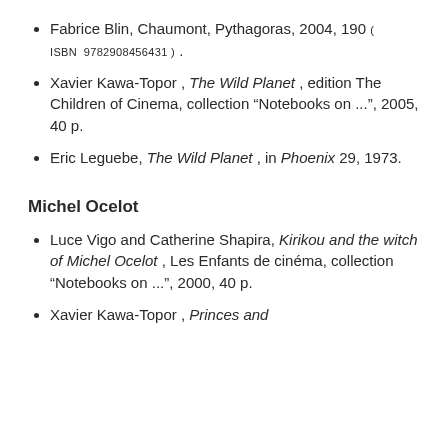Fabrice Blin, Chaumont, Pythagoras, 2004, 190 ( ISBN 9782908456431 ) .
Xavier Kawa-Topor , The Wild Planet , edition The Children of Cinema, collection “Notebooks on ...”, 2005, 40 p.
Eric Leguebe, The Wild Planet , in Phoenix 29, 1973.
Michel Ocelot
Luce Vigo and Catherine Shapira, Kirikou and the witch of Michel Ocelot , Les Enfants de cinéma, collection “Notebooks on ...”, 2000, 40 p.
Xavier Kawa-Topor , Princes and